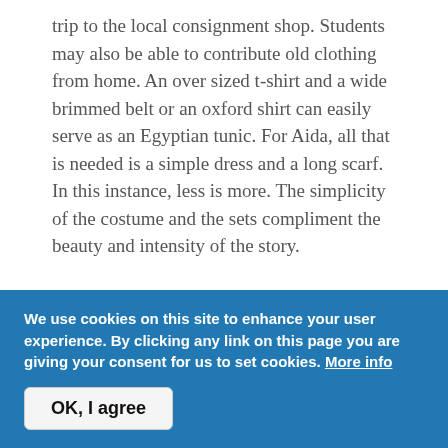trip to the local consignment shop. Students may also be able to contribute old clothing from home. An over sized t-shirt and a wide brimmed belt or an oxford shirt can easily serve as an Egyptian tunic. For Aida, all that is needed is a simple dress and a long scarf. In this instance, less is more. The simplicity of the costume and the sets compliment the beauty and intensity of the story.
About School Editions
Elton John & Tim Rice's AIDA School Edition is one of six School Edition titles available for licensing. Launched in
We use cookies on this site to enhance your user experience. By clicking any link on this page you are giving your consent for us to set cookies. More info
OK, I agree